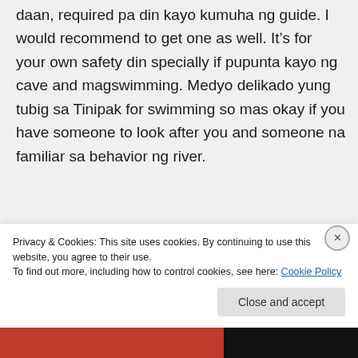daan, required pa din kayo kumuha ng guide. I would recommend to get one as well. It's for your own safety din specially if pupunta kayo ng cave and magswimming. Medyo delikado yung tubig sa Tinipak for swimming so mas okay if you have someone to look after you and someone na familiar sa behavior ng river.
Like
Reply
Privacy & Cookies: This site uses cookies. By continuing to use this website, you agree to their use.
To find out more, including how to control cookies, see here: Cookie Policy
Close and accept